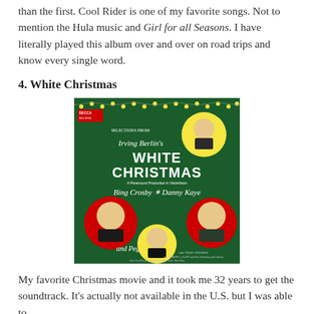than the first. Cool Rider is one of my favorite songs. Not to mention the Hula music and Girl for all Seasons. I have literally played this album over and over on road trips and know every single word.
4. White Christmas
[Figure (photo): Album cover for Irving Berlin's White Christmas, a Decca Records release. Features portraits of Bing Crosby, Danny Kaye, Peggy Lee, and another performer on a green background with Christmas lights. Text reads: SELECTIONS FROM Irving Berlin's WHITE CHRISTMAS A Paramount Production in VistaVision Bing Crosby * Danny Kaye and Peggy Lee with Trudy Stevens and Joseph J. Lilley and His Orchestra and Chorus.]
My favorite Christmas movie and it took me 32 years to get the soundtrack. It's actually not available in the U.S. but I was able to